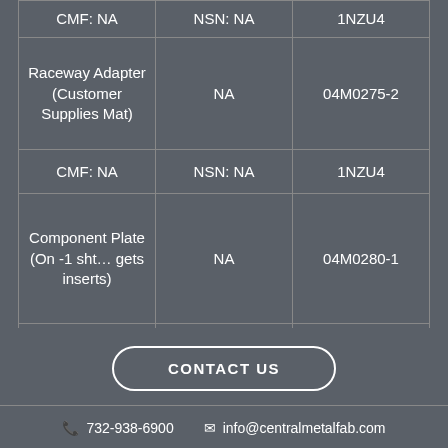| Component | NSN | Part Number |
| --- | --- | --- |
| CMF: NA | NSN: NA | 1NZU4 |
| Raceway Adapter (Customer Supplies Mat) | NA | 04M0275-2 |
| CMF: NA | NSN: NA | 1NZU4 |
| Component Plate (On -1 sht… gets inserts) | NA | 04M0280-1 |
| CMF: NA | NSN: NA | 1NZU4 |
CONTACT US
732-938-6900  info@centralmetalfab.com